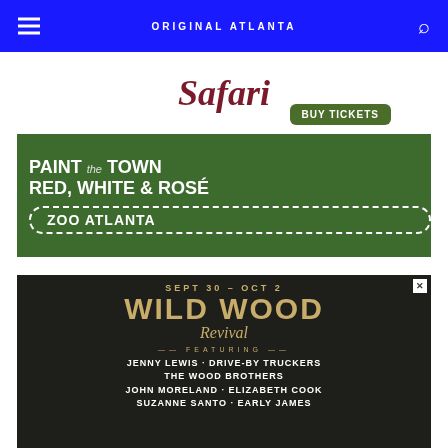ORIGINAL ATLANTA
[Figure (illustration): Zoo Atlanta Wine Safari advertisement. Top half white background with cursive 'Safari' text in dark red and a 'BUY TICKETS' green button. Bottom half green background with text 'PAINT the TOWN RED, WHITE & ROSÉ' and 'ZOO ATLANTA' in a dashed-border badge.]
[Figure (illustration): Wildwood Revival music festival advertisement. Dark background with gold text. Date: SEPT 30 - OCT 2. Title: WILD WOOD Revival. Featuring: JENNY LEWIS · DRIVE-BY TRUCKERS · THE WOOD BROTHERS · JOHN MORELAND · ELIZABETH COOK · SUZANNE SANTO · EARLY JAMES]